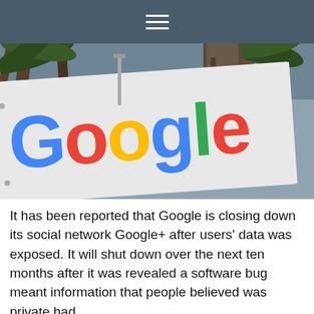≡
[Figure (photo): Photograph of a large Google sign/billboard showing the Google logo in its classic multicolored lettering (blue, red, yellow, blue, green, red), mounted outdoors with palm trees visible in the background.]
It has been reported that Google is closing down its social network Google+ after users' data was exposed. It will shut down over the next ten months after it was revealed a software bug meant information that people believed was private had